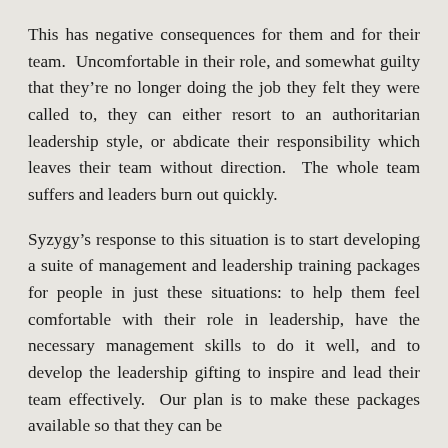This has negative consequences for them and for their team. Uncomfortable in their role, and somewhat guilty that they're no longer doing the job they felt they were called to, they can either resort to an authoritarian leadership style, or abdicate their responsibility which leaves their team without direction. The whole team suffers and leaders burn out quickly.
Syzygy's response to this situation is to start developing a suite of management and leadership training packages for people in just these situations: to help them feel comfortable with their role in leadership, have the necessary management skills to do it well, and to develop the leadership gifting to inspire and lead their team effectively. Our plan is to make these packages available so that they can be